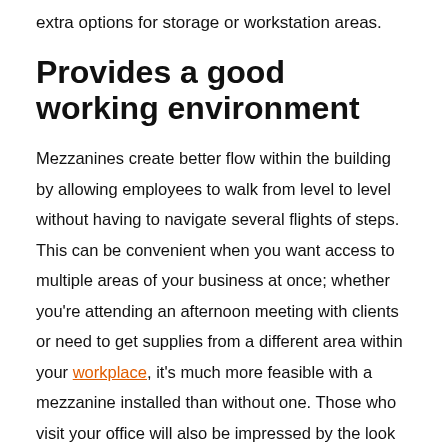extra options for storage or workstation areas.
Provides a good working environment
Mezzanines create better flow within the building by allowing employees to walk from level to level without having to navigate several flights of steps. This can be convenient when you want access to multiple areas of your business at once; whether you're attending an afternoon meeting with clients or need to get supplies from a different area within your workplace, it's much more feasible with a mezzanine installed than without one. Those who visit your office will also be impressed by the look of the office and its functionality.